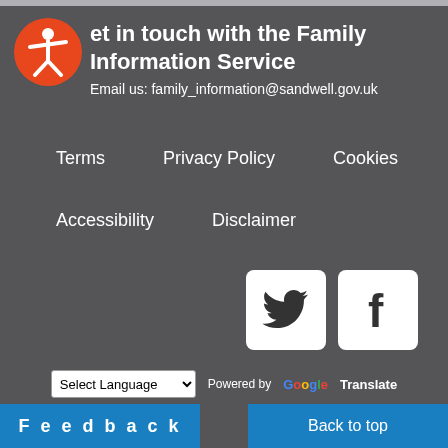[Figure (logo): Accessibility icon — orange circle with white person/stick figure]
Get in touch with the Family Information Service
Email us: family_information@sandwell.gov.uk
Terms
Privacy Policy
Cookies
Accessibility
Disclaimer
[Figure (logo): Twitter (X) social media icon — white bird logo on white square rounded button]
[Figure (logo): Facebook social media icon — white 'f' logo on white square rounded button]
2018 © Sandwell Council
Select Language  Powered by Google Translate
Feedback    Back to top